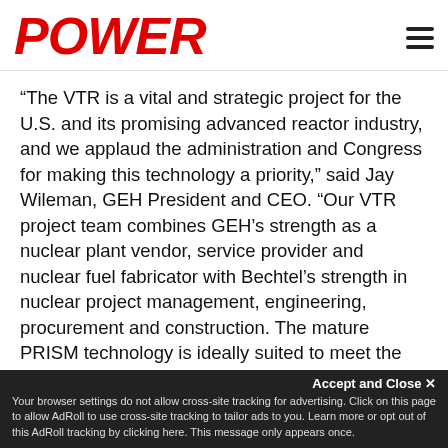POWER
“The VTR is a vital and strategic project for the U.S. and its promising advanced reactor industry, and we applaud the administration and Congress for making this technology a priority,” said Jay Wileman, GEH President and CEO. “Our VTR project team combines GEH’s strength as a nuclear plant vendor, service provider and nuclear fuel fabricator with Bechtel’s strength in nuclear project management, engineering, procurement and construction. The mature PRISM technology is ideally suited to meet the VTR mission needs.”
“The U.S. currently has no capability to test these fuels and materials,” said Peggy McCullough, a Bechtel senior vice president and general manager.
Accept and Close ×
Your browser settings do not allow cross-site tracking for advertising. Click on this page to allow AdRoll to use cross-site tracking to tailor ads to you. Learn more or opt out of this AdRoll tracking by clicking here. This message only appears once.